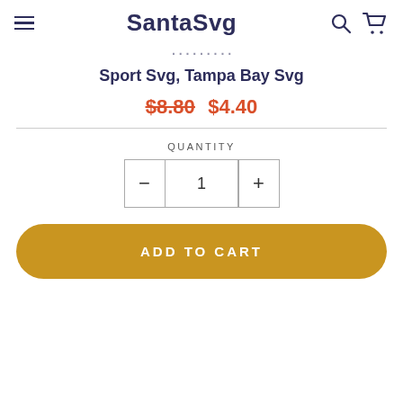SantaSvg
Sport Svg, Tampa Bay Svg
$8.80  $4.40
QUANTITY
- 1 +
ADD TO CART